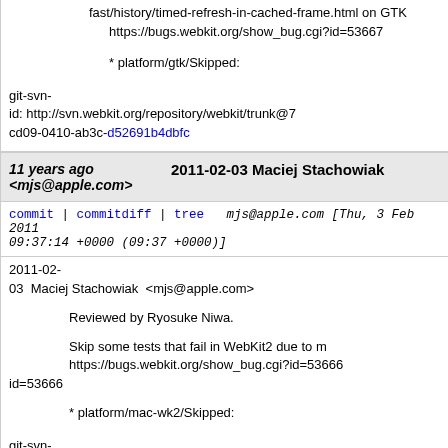fast/history/timed-refresh-in-cached-frame.html on GTK
        https://bugs.webkit.org/show_bug.cgi?id=53667

        * platform/gtk/Skipped:

git-svn-id: http://svn.webkit.org/repository/webkit/trunk@7...cd09-0410-ab3c-d52691b4dbfc
11 years ago <mjs@apple.com>   2011-02-03 Maciej Stachowiak
commit | commitdiff | tree   mjs@apple.com [Thu, 3 Feb 2011 09:37:14 +0000 (09:37 +0000)]
2011-02-03  Maciej Stachowiak  <mjs@apple.com>

        Reviewed by Ryosuke Niwa.

        Skip some tests that fail in WebKit2 due to m...
        https://bugs.webkit.org/show_bug.cgi?id=53666

        * platform/mac-wk2/Skipped:

git-svn-id: http://svn.webkit.org/repository/webkit/trunk@7...